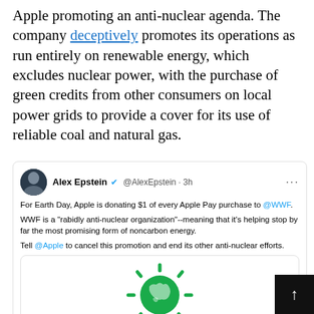Apple promoting an anti-nuclear agenda. The company deceptively promotes its operations as run entirely on renewable energy, which excludes nuclear power, with the purchase of green credits from other consumers on local power grids to provide a cover for its use of reliable coal and natural gas.
[Figure (screenshot): A Twitter/X post by Alex Epstein (@AlexEpstein, 3h ago). Text: 'For Earth Day, Apple is donating $1 of every Apple Pay purchase to @WWF. WWF is a "rabidly anti-nuclear organization"--meaning that it's helping stop by far the most promising form of noncarbon energy. Tell @Apple to cancel this promotion and end its other anti-nuclear efforts.' Embedded image shows a green Earth logo with sun rays and text 'Show Earth some love. With Apple Pay.' and below 'Now through April 22, Apple will donate $1 to World Wildlife Fund for every Apple Pay transaction made in Apple Stores,']